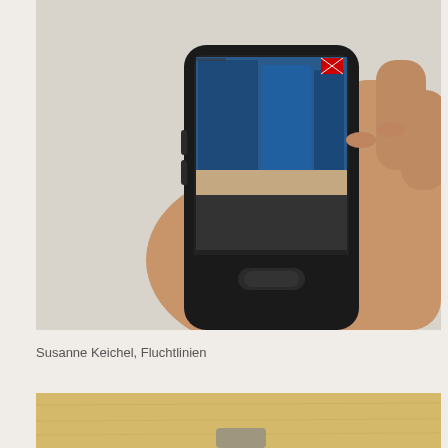[Figure (photo): A hand holding a black Samsung smartphone, with the phone screen showing a photo of blue shipping containers or trucks in an outdoor setting. The background behind the hand is a plain light grey/beige wall.]
Susanne Keichel, Fluchtlinien
[Figure (photo): Partial view of what appears to be a wooden table or surface with some objects on it, cropped at the bottom of the page.]